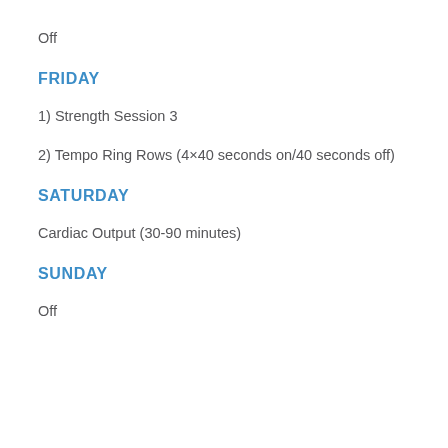Off
FRIDAY
1) Strength Session 3
2) Tempo Ring Rows (4×40 seconds on/40 seconds off)
SATURDAY
Cardiac Output (30-90 minutes)
SUNDAY
Off